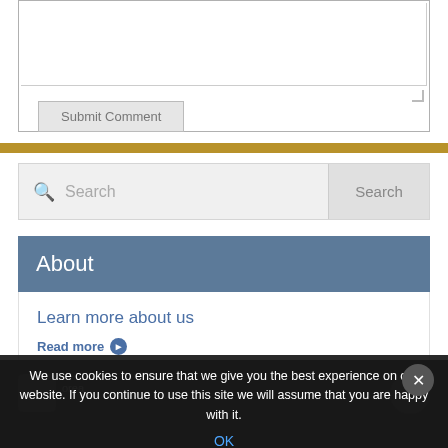[Figure (screenshot): Text area input field (empty) with resize handle in bottom-right corner, followed by a Submit Comment button]
Submit Comment
[Figure (screenshot): Search bar with magnifying glass icon, placeholder text 'Search', and a Search button on the right]
About
Learn more about us
Read more
We use cookies to ensure that we give you the best experience on our website. If you continue to use this site we will assume that you are happy with it.
OK